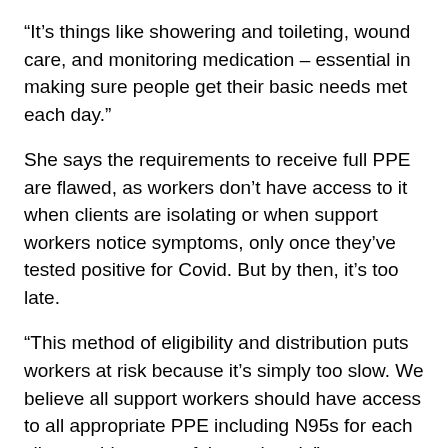“It’s things like showering and toileting, wound care, and monitoring medication – essential in making sure people get their basic needs met each day.”
She says the requirements to receive full PPE are flawed, as workers don’t have access to it when clients are isolating or when support workers notice symptoms, only once they’ve tested positive for Covid. But by then, it’s too late.
“This method of eligibility and distribution puts workers at risk because it’s simply too slow. We believe all support workers should have access to all appropriate PPE including N95s for each client at this stage of the outbreak.”
PSA assistant national secretary, Melissa Woolley asks the Ministry of Health to immediately supply workers with N95 masks, face shields, nitrile gloves, and other PPE to stop Covid-19 spreading to their clients.